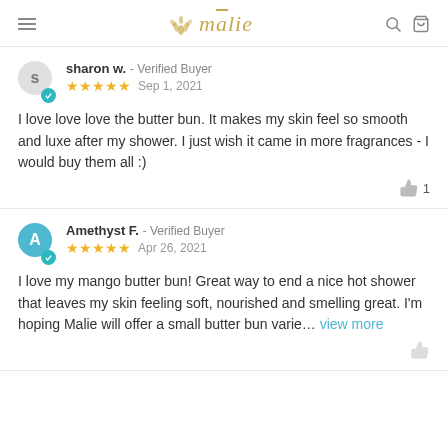mālie
sharon w. - Verified Buyer ★★★★★ Sep 1, 2021
I love love love the butter bun. It makes my skin feel so smooth and luxe after my shower. I just wish it came in more fragrances - I would buy them all :)
Amethyst F. - Verified Buyer ★★★★★ Apr 26, 2021
I love my mango butter bun! Great way to end a nice hot shower that leaves my skin feeling soft, nourished and smelling great. I'm hoping Malie will offer a small butter bun varie... view more